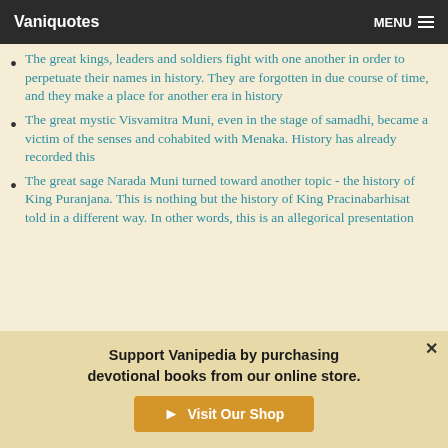Vaniquotes  MENU
The great kings, leaders and soldiers fight with one another in order to perpetuate their names in history. They are forgotten in due course of time, and they make a place for another era in history
The great mystic Visvamitra Muni, even in the stage of samadhi, became a victim of the senses and cohabited with Menaka. History has already recorded this
The great sage Narada Muni turned toward another topic - the history of King Puranjana. This is nothing but the history of King Pracinabarhisat told in a different way. In other words, this is an allegorical presentation
Support Vanipedia by purchasing devotional books from our online store.
Visit Our Shop